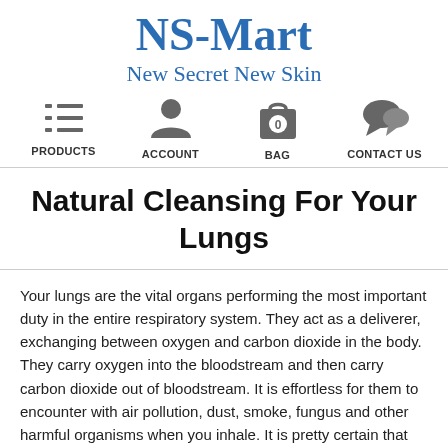[Figure (logo): NS-Mart logo with text 'NS-Mart' in large blue serif font and subtitle 'New Secret New Skin' below in blue serif font]
[Figure (infographic): Navigation bar with four icons and labels: PRODUCTS (list/menu icon), ACCOUNT (person icon), BAG (shopping bag icon with '0'), CONTACT US (speech bubble icon)]
Natural Cleansing For Your Lungs
Your lungs are the vital organs performing the most important duty in the entire respiratory system. They act as a deliverer, exchanging between oxygen and carbon dioxide in the body. They carry oxygen into the bloodstream and then carry carbon dioxide out of bloodstream. It is effortless for them to encounter with air pollution, dust, smoke, fungus and other harmful organisms when you inhale. It is pretty certain that the